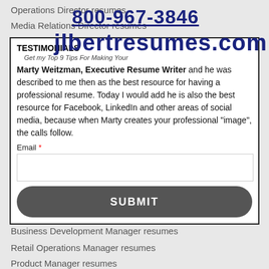800-967-3846
jlbertresumes.com
Operations Director resumes
Media Relations Director resumes
TESTIMONIALS
Get my Top 9 Tips For Making Your
Vice President of Investments resumes
Marty Weitzman, Executive Resume Writer and he was described to me then as the best resource for having a professional resume. Today I would add he is also the best resource for Facebook, LinkedIn and other areas of social media, because when Marty creates your professional "image", the calls follow.
Email *
Network Operations Director resumes
Consulting Practice Director resumes
Program Director resumes
Territory Sales Director resumes
Hospice Director resumes
General Manager resumes
Business Development Manager resumes
Retail Operations Manager resumes
Product Manager resumes
Restaurant General Manager resumes
Biotech & Medical Device resumes
Offshore Development Manager resumes
Regional Sales Manager resumes